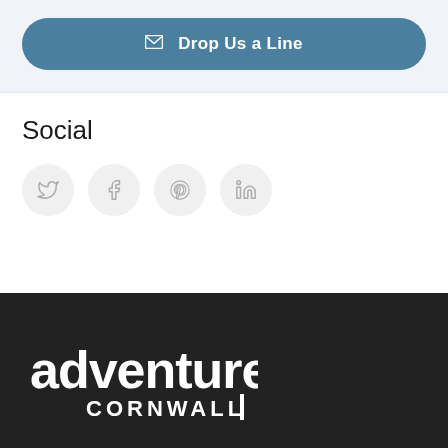Drop Us a Line
Social
[Figure (other): Four social media icon circles: Twitter, Facebook, Pinterest, LinkedIn]
[Figure (logo): Adventure Cornwall logo in white on dark background]